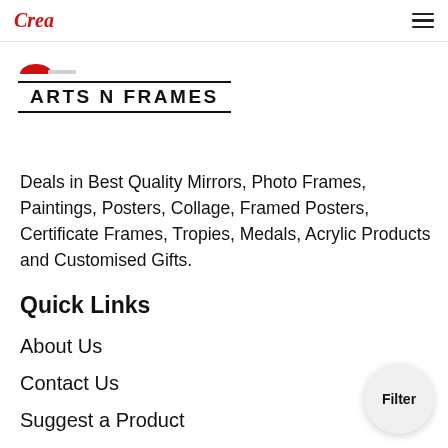Crea
[Figure (logo): Arts N Frames logo with red semi-circle icon and bold uppercase text ARTS N FRAMES with double border lines]
Deals in Best Quality Mirrors, Photo Frames, Paintings, Posters, Collage, Framed Posters, Certificate Frames, Tropies, Medals, Acrylic Products and Customised Gifts.
Quick Links
About Us
Contact Us
Suggest a Product
Bulk Orders
Blogs